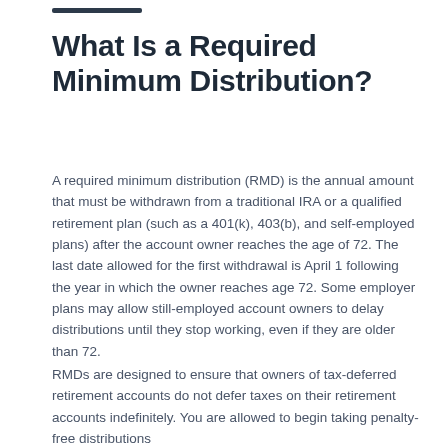What Is a Required Minimum Distribution?
A required minimum distribution (RMD) is the annual amount that must be withdrawn from a traditional IRA or a qualified retirement plan (such as a 401(k), 403(b), and self-employed plans) after the account owner reaches the age of 72. The last date allowed for the first withdrawal is April 1 following the year in which the owner reaches age 72. Some employer plans may allow still-employed account owners to delay distributions until they stop working, even if they are older than 72.
RMDs are designed to ensure that owners of tax-deferred retirement accounts do not defer taxes on their retirement accounts indefinitely. You are allowed to begin taking penalty-free distributions